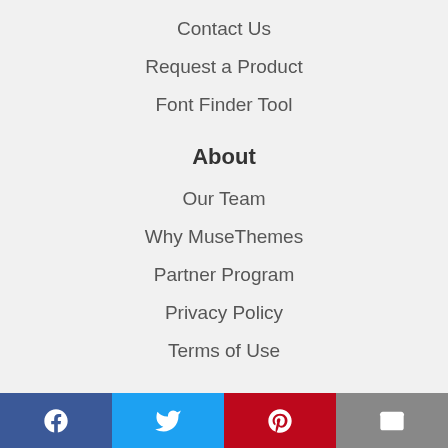Contact Us
Request a Product
Font Finder Tool
About
Our Team
Why MuseThemes
Partner Program
Privacy Policy
Terms of Use
Facebook Twitter Pinterest Email social share bar